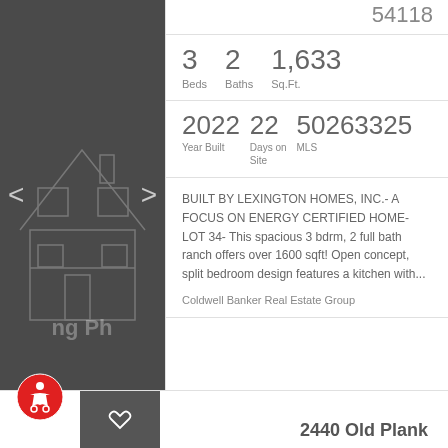[Figure (photo): Dark gray panel with house outline illustration and navigation arrows, serving as property image placeholder]
54118
3 Beds  2 Baths  1,633 Sq.Ft.
2022 Year Built  22 Days on Site  50263325 MLS
BUILT BY LEXINGTON HOMES, INC.- A FOCUS ON ENERGY CERTIFIED HOME- LOT 34- This spacious 3 bdrm, 2 full bath ranch offers over 1600 sqft! Open concept, split bedroom design features a kitchen with...
Coldwell Banker Real Estate Group
2440 Old Plank